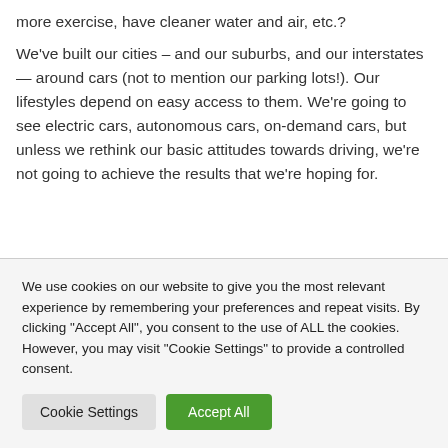more exercise, have cleaner water and air, etc.?
We've built our cities – and our suburbs, and our interstates — around cars (not to mention our parking lots!). Our lifestyles depend on easy access to them. We're going to see electric cars, autonomous cars, on-demand cars, but unless we rethink our basic attitudes towards driving, we're not going to achieve the results that we're hoping for.
We use cookies on our website to give you the most relevant experience by remembering your preferences and repeat visits. By clicking "Accept All", you consent to the use of ALL the cookies. However, you may visit "Cookie Settings" to provide a controlled consent.
Cookie Settings
Accept All